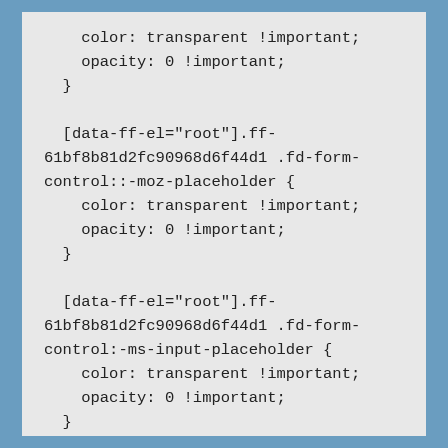color: transparent !important;
    opacity: 0 !important;
  }

  [data-ff-el="root"].ff-61bf8b81d2fc90968d6f44d1 .fd-form-control::-moz-placeholder {
    color: transparent !important;
    opacity: 0 !important;
  }

  [data-ff-el="root"].ff-61bf8b81d2fc90968d6f44d1 .fd-form-control:-ms-input-placeholder {
    color: transparent !important;
    opacity: 0 !important;
  }